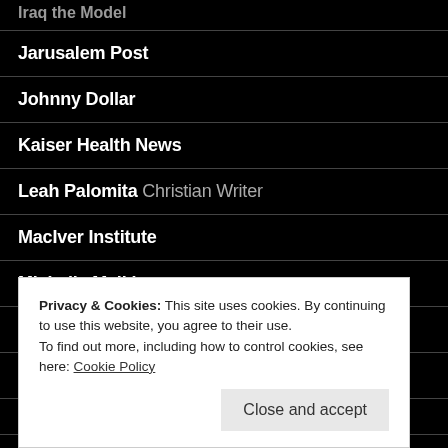Iraq the Model
Jarusalem Post
Johnny Dollar
Kaiser Health News
Leah Palomita Christian Writer
MacIver Institute
Michelle Malkin
NBRA
Neo-neocon
Privacy & Cookies: This site uses cookies. By continuing to use this website, you agree to their use.
To find out more, including how to control cookies, see here: Cookie Policy
Close and accept